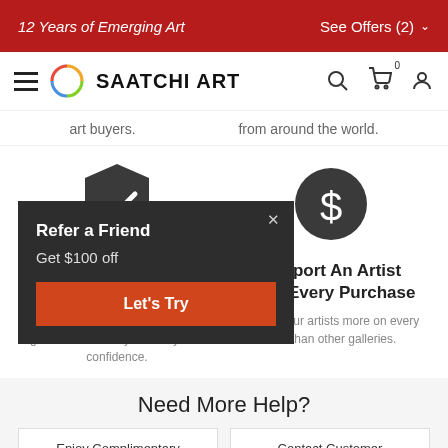12 Years of Emerging Art | See Offers (2)
[Figure (logo): Saatchi Art logo with navigation bar including hamburger menu, circular colorful logo, brand name SAATCHI ART, search icon, cart icon, and user icon]
art buyers.
from around the world.
[Figure (illustration): Dark shield icon with checkmark inside]
[Figure (illustration): Dark circle with dollar sign inside]
Satisfaction Guaranteed
Support An Artist With Every Purchase
Our 7-day, money-back guarantee allows you to buy with confidence.
We pay our artists more on every sale than other galleries.
[Figure (screenshot): Popup overlay with dark background showing Refer a Friend promotion with Get $100 off and Let's Try button]
Need More Help?
Enjoy Complimentary
Contact Customer